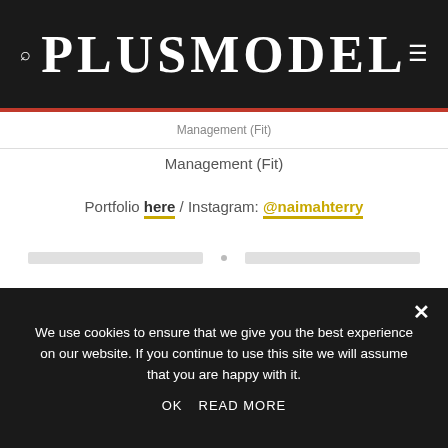PLUSMODEL
Management (Fit)
Portfolio here / Instagram: @naimahterry
March 2018 – The ‘Spring Fashion’ Issue
We use cookies to ensure that we give you the best experience on our website. If you continue to use this site we will assume that you are happy with it. OK READ MORE